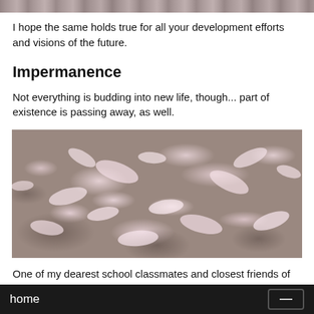[Figure (photo): Top portion of a photo, partially visible, showing what appears to be outdoor scenery with muted colors.]
I hope the same holds true for all your development efforts and visions of the future.
Impermanence
Not everything is budding into new life, though... part of existence is passing away, as well.
[Figure (photo): A photograph showing fallen flower petals (likely cherry blossom petals) spread across the ground/pavement, pink and white in color.]
One of my dearest school classmates and closest friends of my youth, Prof. Dr. Lorenz Poellinger, unexpectedly passed on.
home